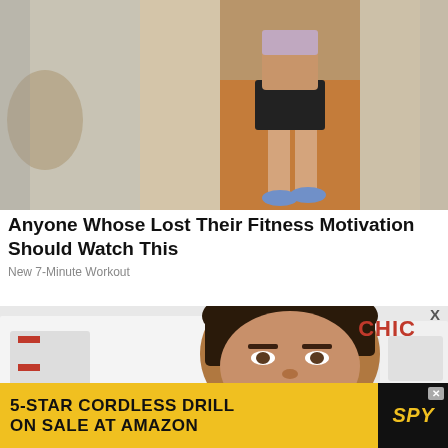[Figure (photo): A person in black shorts and sports top standing in a hallway with wood floors, blurred sides]
Anyone Whose Lost Their Fitness Motivation Should Watch This
New 7-Minute Workout
[Figure (photo): A man's face close-up with a white vehicle/ambulance in background, CHIC logo partially visible]
X
[Figure (screenshot): Advertisement banner: 5-STAR CORDLESS DRILL ON SALE AT AMAZON with SPY logo in black on yellow background]